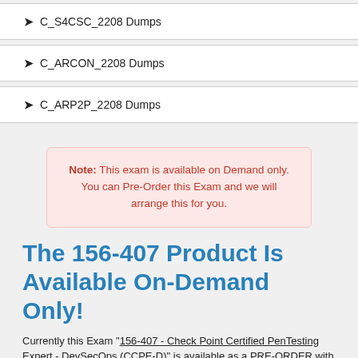❯ C_S4CSC_2208 Dumps
❯ C_ARCON_2208 Dumps
❯ C_ARP2P_2208 Dumps
Note: This exam is available on Demand only. You can Pre-Order this Exam and we will arrange this for you.
The 156-407 Product Is Available On-Demand Only!
Currently this Exam "156-407 - Check Point Certified PenTesting Expert - DevSecOps (CCPE-D)" is available as a PRE-ORDER with us.